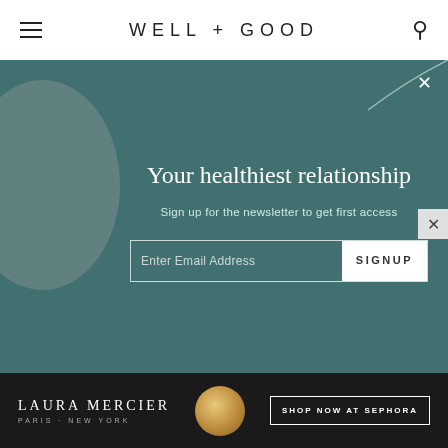WELL+GOOD
[Figure (infographic): Newsletter signup overlay with teal/dark green background. Title: 'Your healthiest relationship'. Subtitle: 'Sign up for the newsletter to get first access'. Email input field with SIGNUP button. Decorative gray circle on left, curved line on top right. Close X button top right.]
borrowers.
“President Biden has taken a giant step forward in addressing the student debt crisis by cancelling significant amounts of student debt for millions of borrowers. The positive impacts of this new will be
[Figure (infographic): Laura Mercier advertisement banner. Dark background with Laura Mercier Paris New York logo in white text, product image (gold sphere/orb), and 'SHOP NOW AT SEPHORA' call-to-action button.]